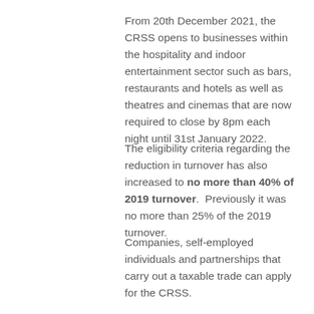From 20th December 2021, the CRSS opens to businesses within the hospitality and indoor entertainment sector such as bars, restaurants and hotels as well as theatres and cinemas that are now required to close by 8pm each night until 31st January 2022.
The eligibility criteria regarding the reduction in turnover has also increased to no more than 40% of 2019 turnover.  Previously it was no more than 25% of the 2019 turnover.
Companies, self-employed individuals and partnerships that carry out a taxable trade can apply for the CRSS.
A qualifying person who meets the revised eligibility criteria can make a claim to Revenue in respect of